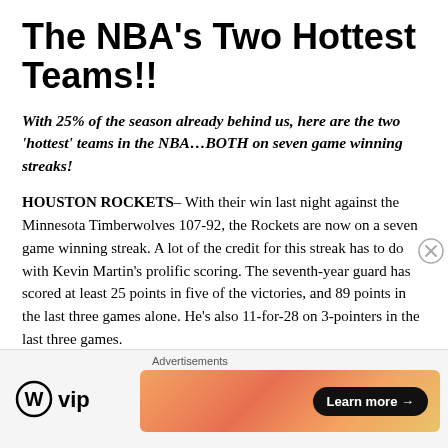The NBA's Two Hottest Teams!!
With 25% of the season already behind us, here are the two 'hottest' teams in the NBA…BOTH on seven game winning streaks!
HOUSTON ROCKETS– With their win last night against the Minnesota Timberwolves 107-92, the Rockets are now on a seven game winning streak. A lot of the credit for this streak has to do with Kevin Martin's prolific scoring. The seventh-year guard has scored at least 25 points in five of the victories, and 89 points in the last three games alone. He's also 11-for-28 on 3-pointers in the last three games.
Advertisements
[Figure (logo): WordPress VIP logo with circle W icon]